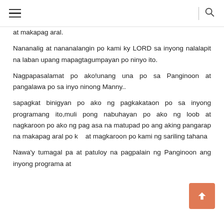≡  |  🔍
at makapag aral.
Nananalig at nananalangin po kami ky LORD sa inyong nalalapit na laban upang mapagtagumpayan po ninyo ito.
Nagpapasalamat po ako!unang una po sa Panginoon at pangalawa po sa inyo ninong Manny..
sapagkat binigyan po ako ng pagkakataon po sa inyong programang ito,muli pong nabuhayan po ako ng loob at nagkaroon po ako ng pag asa na matupad po ang aking pangarap na makapag aral po k at magkaroon po kami ng sariling tahana
Nawa'y tumagal pa at patuloy na pagpalain ng Panginoon ang inyong programa at